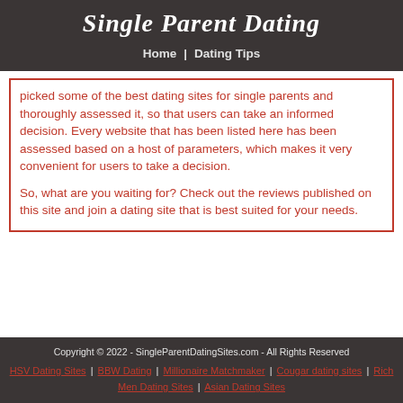Single Parent Dating
Home | Dating Tips
picked some of the best dating sites for single parents and thoroughly assessed it, so that users can take an informed decision. Every website that has been listed here has been assessed based on a host of parameters, which makes it very convenient for users to take a decision.

So, what are you waiting for? Check out the reviews published on this site and join a dating site that is best suited for your needs.
Copyright © 2022 - SingleParentDatingSites.com - All Rights Reserved
HSV Dating Sites | BBW Dating | Millionaire Matchmaker | Cougar dating sites | Rich Men Dating Sites | Asian Dating Sites